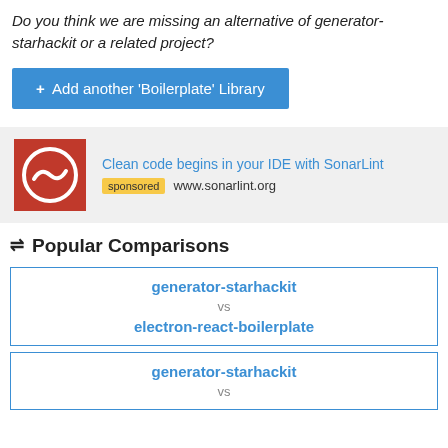Do you think we are missing an alternative of generator-starhackit or a related project?
+ Add another 'Boilerplate' Library
[Figure (infographic): SonarLint advertisement with red logo, text 'Clean code begins in your IDE with SonarLint', sponsored badge, and www.sonarlint.org URL]
⇌ Popular Comparisons
| generator-starhackit | vs | electron-react-boilerplate |
| generator-starhackit | vs |  |